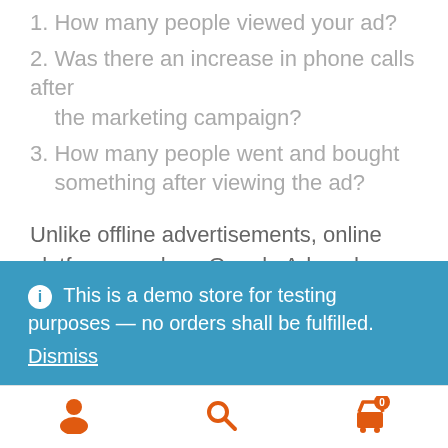1. How many people viewed your ad?
2. Was there an increase in phone calls after the marketing campaign?
3. How many people went and bought something after viewing the ad?
Unlike offline advertisements, online platforms such as Google Adwords are a breeze to work
This is a demo store for testing purposes — no orders shall be fulfilled. Dismiss